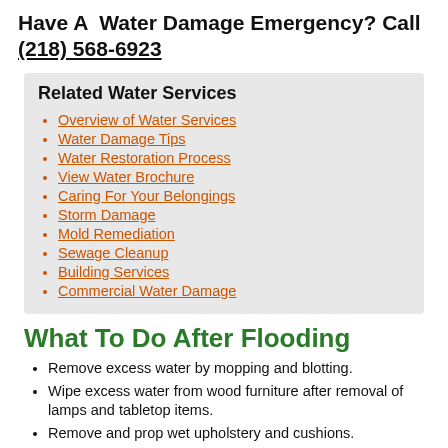Have A Water Damage Emergency? Call (218) 568-6923
Related Water Services
Overview of Water Services
Water Damage Tips
Water Restoration Process
View Water Brochure
Caring For Your Belongings
Storm Damage
Mold Remediation
Sewage Cleanup
Building Services
Commercial Water Damage
What To Do After Flooding
Remove excess water by mopping and blotting.
Wipe excess water from wood furniture after removal of lamps and tabletop items.
Remove and prop wet upholstery and cushions.